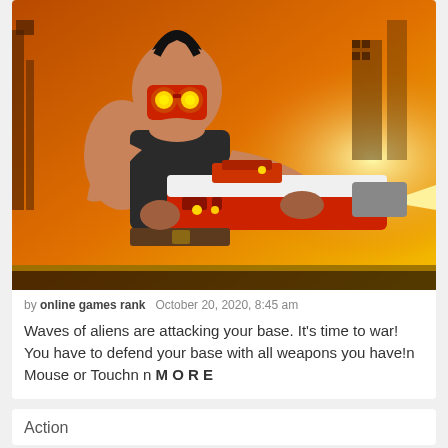[Figure (illustration): Cartoon-style game character: a muscular man with a mohawk holding a large red and white sci-fi gun with yellow glowing lights. He wears a red robotic mask with glowing yellow eyes. The background is orange/yellow with industrial structures. Comic book style artwork.]
by online games rank   October 20, 2020, 8:45 am
Waves of aliens are attacking your base. It's time to war! You have to defend your base with all weapons you have!n Mouse or Touchn n MORE
Action